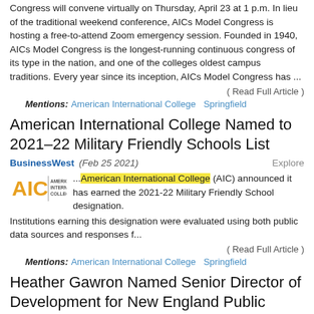Congress will convene virtually on Thursday, April 23 at 1 p.m. In lieu of the traditional weekend conference, AICs Model Congress is hosting a free-to-attend Zoom emergency session. Founded in 1940, AICs Model Congress is the longest-running continuous congress of its type in the nation, and one of the colleges oldest campus traditions. Every year since its inception, AICs Model Congress has ...
( Read Full Article )
Mentions: American International College  Springfield
American International College Named to 2021–22 Military Friendly Schools List
BusinessWest (Feb 25 2021)   Explore
...American International College (AIC) announced it has earned the 2021-22 Military Friendly School designation. Institutions earning this designation were evaluated using both public data sources and responses f...
( Read Full Article )
Mentions: American International College  Springfield
Heather Gawron Named Senior Director of Development for New England Public Media